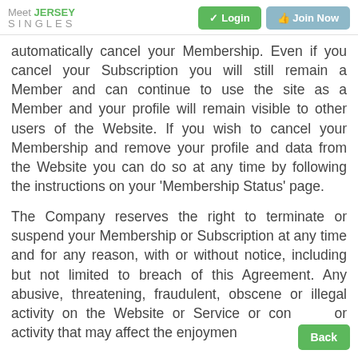Meet Jersey Singles — Login | Join Now
automatically cancel your Membership. Even if you cancel your Subscription you will still remain a Member and can continue to use the site as a Member and your profile will remain visible to other users of the Website. If you wish to cancel your Membership and remove your profile and data from the Website you can do so at any time by following the instructions on your 'Membership Status' page.
The Company reserves the right to terminate or suspend your Membership or Subscription at any time and for any reason, with or without notice, including but not limited to breach of this Agreement. Any abusive, threatening, fraudulent, obscene or illegal activity on the Website or Service or conduct or activity that may affect the enjoyment...